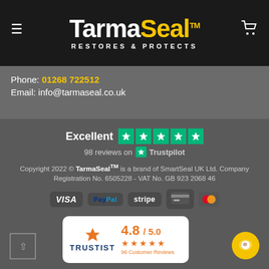[Figure (logo): TarmaSeal logo — white 'Tarma' and yellow 'Seal' with TM mark, subtitle 'RESTORES & PROTECTS' on black background]
Phone: 01268 722512
Email: info@tarmaseal.co.uk
[Figure (logo): Trustpilot rating: Excellent, 5 green stars, 98 reviews on Trustpilot]
Copyright 2022 © TarmaSeal™ is a brand of SmartSeal UK Ltd. Company Registration No. 6505228 - VAT No. GB 923 2068 46
[Figure (logo): Payment icons: VISA, PayPal, stripe, card, MasterCard]
[Figure (logo): Trustist rating card: 4.8 / 5.0, 5 stars, 96 Customer Reviews]